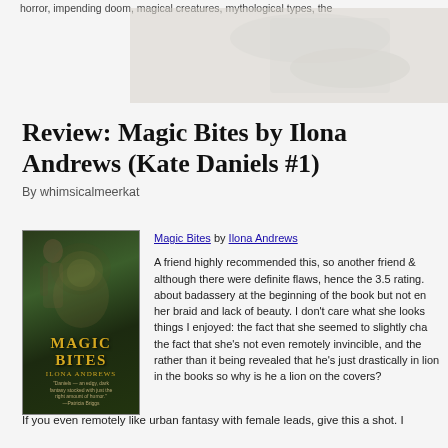horror, impending doom, magical creatures, mythological types, the
[Figure (photo): Faded/ghosted image at the top of the page, appears to be a book cover or decorative background image, partially visible]
Review: Magic Bites by Ilona Andrews (Kate Daniels #1)
By whimsicalmeerkat
[Figure (photo): Book cover of Magic Bites by Ilona Andrews showing a woman with red hair and a lion, dark green fantasy tones, with the title 'Magic Bites' in gold letters and 'Ilona Andrews' below]
Magic Bites by Ilona Andrews

A friend highly recommended this, so another friend & although there were definite flaws, hence the 3.5 rating. about badassery at the beginning of the book but not en her braid and lack of beauty. I don't care what she looks things I enjoyed: the fact that she seemed to slightly cha the fact that she's not even remotely invincible, and the rather than it being revealed that he's just drastically in lion in the books so why is he a lion on the covers?
If you even remotely like urban fantasy with female leads, give this a shot. I